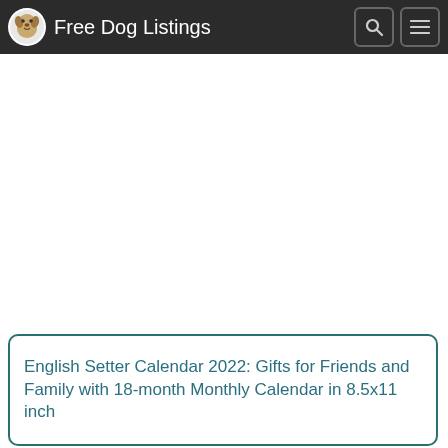Free Dog Listings
English Setter Calendar 2022: Gifts for Friends and Family with 18-month Monthly Calendar in 8.5x11 inch